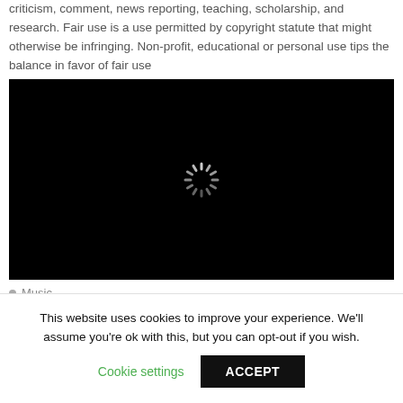criticism, comment, news reporting, teaching, scholarship, and research. Fair use is a use permitted by copyright statute that might otherwise be infringing. Non-profit, educational or personal use tips the balance in favor of fair use
[Figure (screenshot): Black video player with a white spinning loading indicator in the center]
Music
Tags: DJ SAAF, psychedelic trance
This website uses cookies to improve your experience. We'll assume you're ok with this, but you can opt-out if you wish. Cookie settings ACCEPT